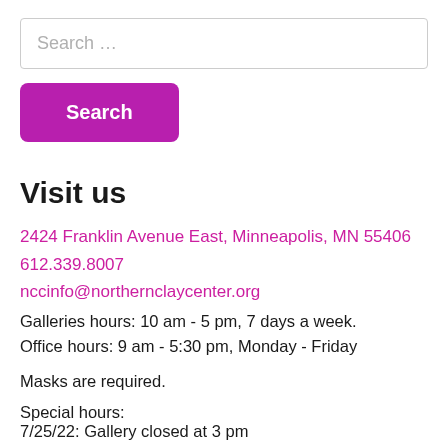Search …
Search
Visit us
2424 Franklin Avenue East, Minneapolis, MN 55406
612.339.8007
nccinfo@northernclaycenter.org
Galleries hours: 10 am - 5 pm, 7 days a week.
Office hours: 9 am - 5:30 pm, Monday - Friday
Masks are required.
Special hours:
7/25/22: Gallery closed at 3 pm